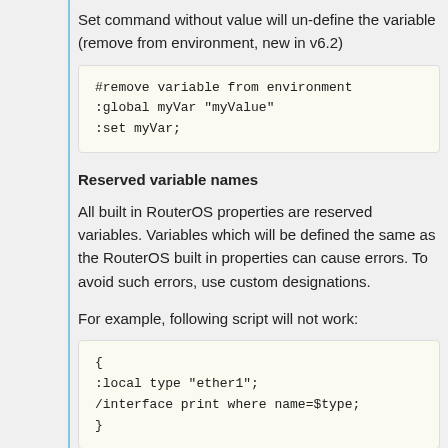Set command without value will un-define the variable (remove from environment, new in v6.2)
#remove variable from environment
:global myVar "myValue"
:set myVar;
Reserved variable names
All built in RouterOS properties are reserved variables. Variables which will be defined the same as the RouterOS built in properties can cause errors. To avoid such errors, use custom designations.
For example, following script will not work:
{
:local type "ether1";
/interface print where name=$type;
}